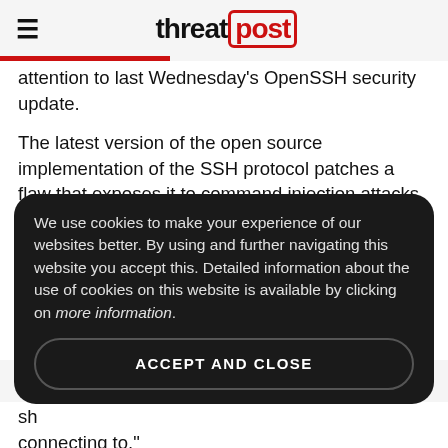threatpost
attention to last Wednesday's OpenSSH security update.
The latest version of the open source implementation of the SSH protocol patches a flaw that exposes it to command injection attacks. The open source project cautions that OpenSSH disabled X11Forwarding long ago—it is no longer the default configuration—thus limiting the risk to most users. But some vendors—OpenSSH singled out Red Hat in particular—turn X11Forwarding on a...
We use cookies to make your experience of our websites better. By using and further navigating this website you accept this. Detailed information about the use of cookies on this website is available by clicking on more information.
ACCEPT AND CLOSE
sh
connecting to."